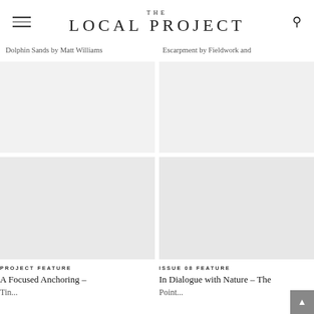THE LOCAL PROJECT
Dolphin Sands by Matt Williams
Escarpment by Fieldwork and
[Figure (photo): Faded interior architectural photo - upper left]
[Figure (photo): Faded interior architectural photo - upper right]
[Figure (photo): Architectural interior photo - lower left, A Focused Anchoring article]
PROJECT FEATURE
A Focused Anchoring –
[Figure (photo): Architectural interior photo - lower right, In Dialogue with Nature article]
ISSUE 08 FEATURE
In Dialogue with Nature – The